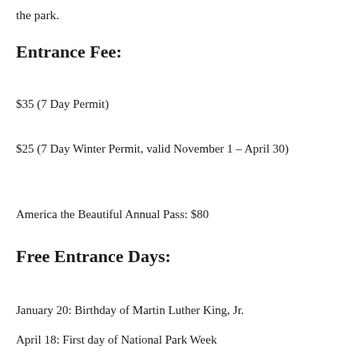the park.
Entrance Fee:
$35 (7 Day Permit)
$25 (7 Day Winter Permit, valid November 1 – April 30)
America the Beautiful Annual Pass: $80
Free Entrance Days:
January 20: Birthday of Martin Luther King, Jr.
April 18: First day of National Park Week